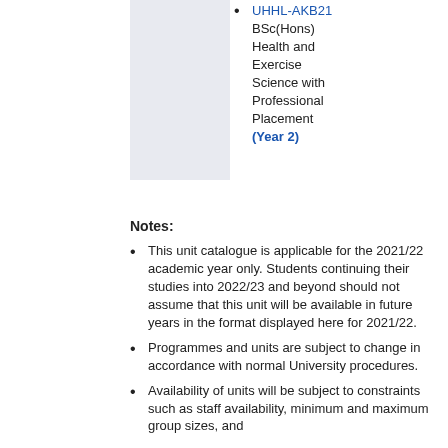UHHL-AKB21 BSc(Hons) Health and Exercise Science with Professional Placement (Year 2)
Notes:
This unit catalogue is applicable for the 2021/22 academic year only. Students continuing their studies into 2022/23 and beyond should not assume that this unit will be available in future years in the format displayed here for 2021/22.
Programmes and units are subject to change in accordance with normal University procedures.
Availability of units will be subject to constraints such as staff availability, minimum and maximum group sizes, and